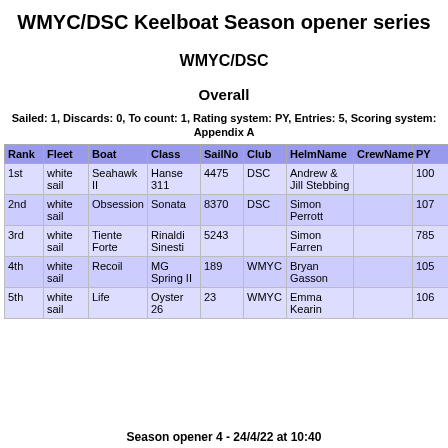WMYC/DSC Keelboat Season opener series
WMYC/DSC
Overall
Sailed: 1, Discards: 0, To count: 1, Rating system: PY, Entries: 5, Scoring system: Appendix A
| Rank | Fleet | Boat | Class | SailNo | Club | HelmName | CrewName | PY |
| --- | --- | --- | --- | --- | --- | --- | --- | --- |
| 1st | white sail | Seahawk II | Hanse 311 | 4475 | DSC | Andrew & Jill Stebbing |  | 100 |
| 2nd | white sail | Obsession | Sonata | 8370 | DSC | Simon Perrott |  | 107 |
| 3rd | white sail | Tiente Forte | Rinaldi Sinesti | 5243 |  | Simon Farren |  | 785 |
| 4th | white sail | Recoil | MG Spring II | 189 | WMYC | Bryan Gasson |  | 105 |
| 5th | white sail | Life | Oyster 26 | 23 | WMYC | Emma Kearin |  | 106 |
Season opener 4 - 24/4/22 at 10:40